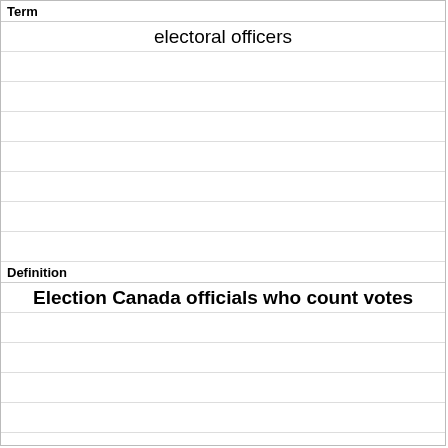Term
electoral officers
Definition
Election Canada officials who count votes